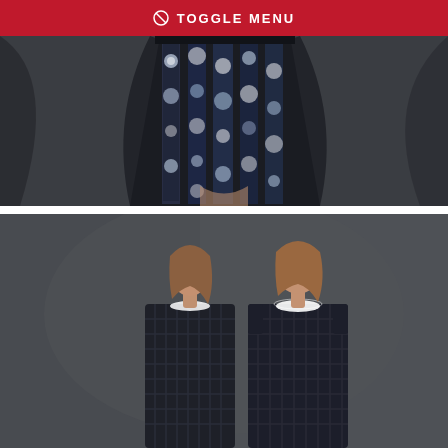⊘ TOGGLE MENU
[Figure (photo): Close-up of a floral sequin skirt with blue and white flower patterns against dark draped fabric background]
[Figure (photo): Two female models wearing matching dark navy checkered/grid pattern sleeveless dresses with white collar detail, standing against a dark grey background]